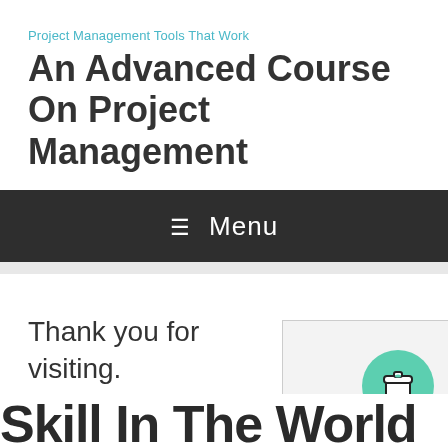Project Management Tools That Work
An Advanced Course On Project Management
≡ Menu
Thank you for visiting.
...ort... Skill In The World